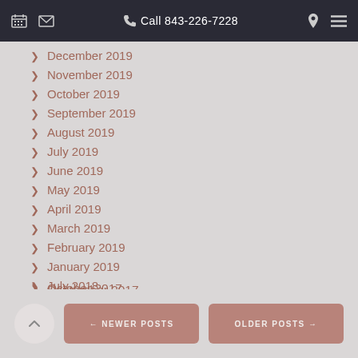📅 ✉ ✆ Call 843-226-7228 📍 ≡
> December 2019
> November 2019
> October 2019
> September 2019
> August 2019
> July 2019
> June 2019
> May 2019
> April 2019
> March 2019
> February 2019
> January 2019
> July 2018
> October 2017
> September 2017
← NEWER POSTS    OLDER POSTS →